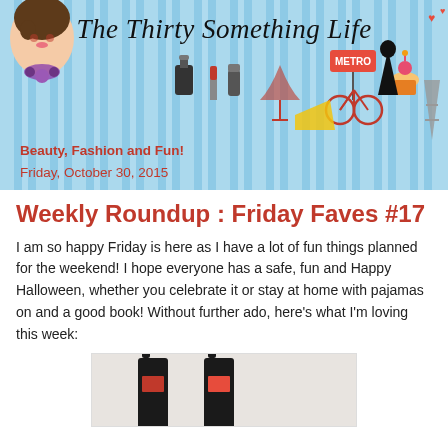[Figure (illustration): Blog header banner with blue and white vertical stripes background, illustrated fashion icons (woman's face, perfume bottle, lipstick, Metro sign, bicycle, cupcake, Eiffel Tower, dress, wine glass, cheese), and cursive script title 'The Thirty Something Life'. Tagline 'Beauty, Fashion and Fun!' and date 'Friday, October 30, 2015' appear over the banner.]
Weekly Roundup : Friday Faves #17
I am so happy Friday is here as I have a lot of fun things planned for the weekend! I hope everyone has a safe, fun and Happy Halloween, whether you celebrate it or stay at home with pajamas on and a good book! Without further ado, here's what I'm loving this week:
[Figure (photo): Partial photo preview showing a dark bottle (cosmetic/beauty product) against a light neutral background, cropped at bottom of page.]